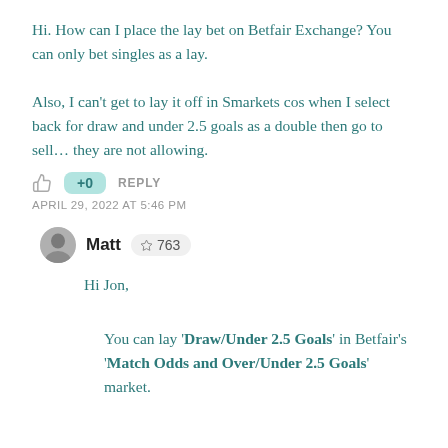Hi. How can I place the lay bet on Betfair Exchange? You can only bet singles as a lay.

Also, I can't get to lay it off in Smarkets cos when I select back for draw and under 2.5 goals as a double then go to sell… they are not allowing.
+0  REPLY
APRIL 29, 2022 AT 5:46 PM
Matt  ☆ 763
Hi Jon,

You can lay 'Draw/Under 2.5 Goals' in Betfair's 'Match Odds and Over/Under 2.5 Goals' market.